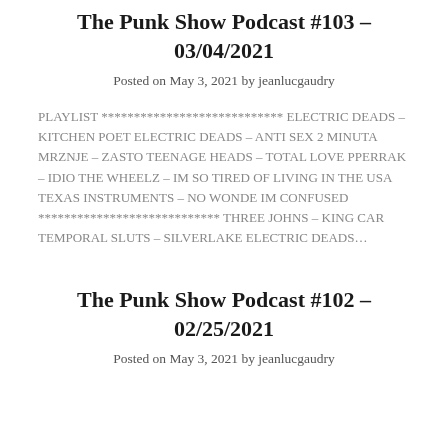The Punk Show Podcast #103 – 03/04/2021
Posted on May 3, 2021 by jeanlucgaudry
PLAYLIST **************************** ELECTRIC DEADS – KITCHEN POET ELECTRIC DEADS – ANTI SEX 2 MINUTA MRZNJE – ZASTO TEENAGE HEADS – TOTAL LOVE PPERRAK – IDIO THE WHEELZ – IM SO TIRED OF LIVING IN THE USA TEXAS INSTRUMENTS – NO WONDE IM CONFUSED **************************** THREE JOHNS – KING CAR TEMPORAL SLUTS – SILVERLAKE ELECTRIC DEADS…
The Punk Show Podcast #102 – 02/25/2021
Posted on May 3, 2021 by jeanlucgaudry